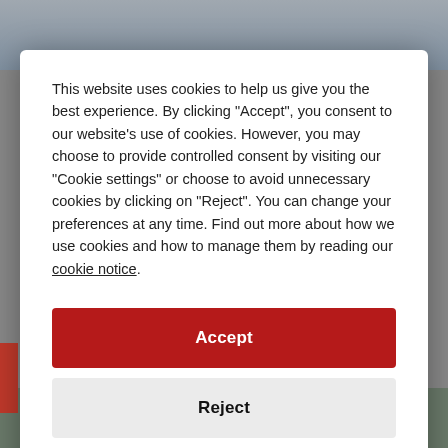[Figure (screenshot): Background photo of a modern building exterior, partially visible behind a cookie consent modal dialog.]
This website uses cookies to help us give you the best experience. By clicking "Accept", you consent to our website's use of cookies. However, you may choose to provide controlled consent by visiting our "Cookie settings" or choose to avoid unnecessary cookies by clicking on "Reject". You can change your preferences at any time. Find out more about how we use cookies and how to manage them by reading our cookie notice.
Accept
Reject
Cookie settings
ARCHITECTURE | JULY 28, 2022